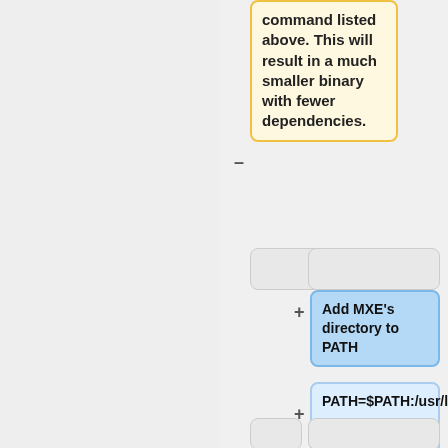command listed above. This will result in a much smaller binary with fewer dependencies.
Add MXE's directory to PATH
PATH=$PATH:/usr/lib/mxe/usr/bin